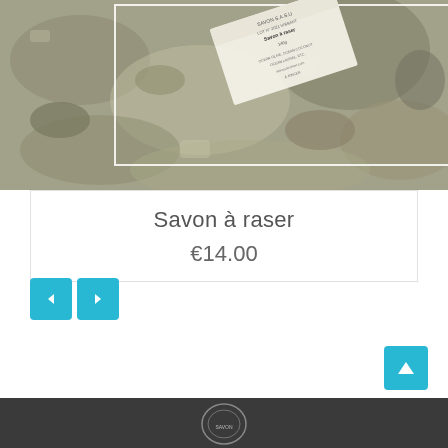[Figure (photo): A rocky, mossy granite surface with a product label/card placed on top of it. The card appears to show product information for 'Savon à raser'. A white rectangular border overlay is visible in the center-left of the image.]
Savon à raser
€14.00